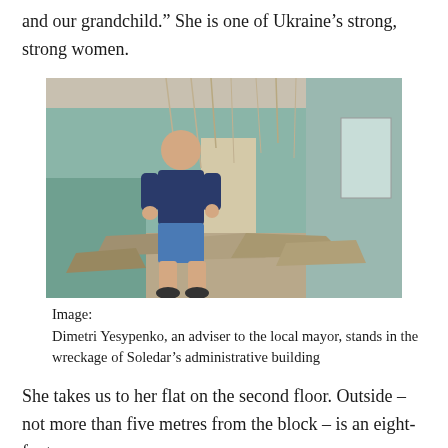and our grandchild.” She is one of Ukraine’s strong, strong women.
[Figure (photo): A man in a navy blue t-shirt and blue shorts stands in the rubble-strewn corridor of a destroyed building with teal-painted walls, dangling debris, and broken windows. This is the wreckage of Soledar's administrative building.]
Image:
Dimetri Yesypenko, an adviser to the local mayor, stands in the wreckage of Soledar’s administrative building
She takes us to her flat on the second floor. Outside – not more than five metres from the block – is an eight-foot